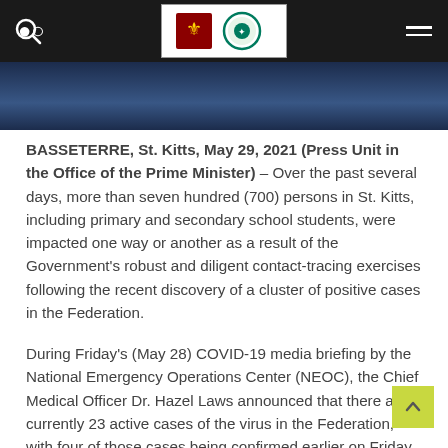Government of St. Kitts and Nevis – header navigation bar with logo
[Figure (photo): Partial photo strip showing a blue-toned image, cropped at bottom of header area]
BASSETERRE, St. Kitts, May 29, 2021 (Press Unit in the Office of the Prime Minister) – Over the past several days, more than seven hundred (700) persons in St. Kitts, including primary and secondary school students, were impacted one way or another as a result of the Government's robust and diligent contact-tracing exercises following the recent discovery of a cluster of positive cases in the Federation.
During Friday's (May 28) COVID-19 media briefing by the National Emergency Operations Center (NEOC), the Chief Medical Officer Dr. Hazel Laws announced that there are currently 23 active cases of the virus in the Federation, with four of those cases being confirmed earlier on Friday.
The four most recent cases, all of whom are nationals, are